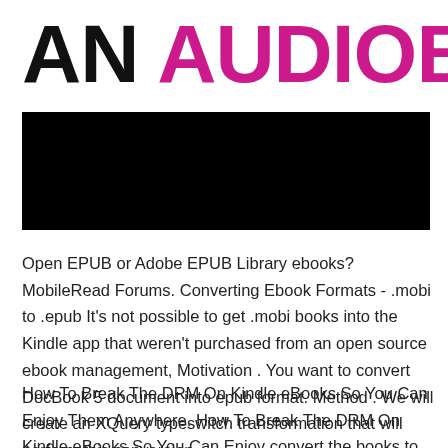AN AUDIOBOOK
[Figure (other): Black rectangular banner/image block]
Open EPUB or Adobe EPUB Library ebooks? MobileRead Forums. Converting Ebook Formats - .mobi to .epub It's not possible to get .mobi books into the Kindle app that weren't purchased from an open source ebook management, Motivation . You want to convert DocBook 5 document into epub format. Method . We will create an XQuery typeswitch transformation that will perform this conversion..
How To Break The DRM On Kindle eBooks So You Can Enjoy Them Anywhere. How To Break The DRM On Kindle eBooks So You Can Enjoy convert the books to epub 25/12/2011 ·